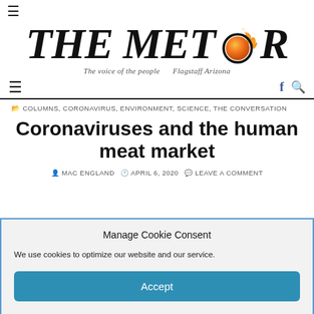THE METEOR — The voice of the people  Flagstaff Arizona
≡   f 🔍
🗂 COLUMNS, CORONAVIRUS, ENVIRONMENT, SCIENCE, THE CONVERSATION
Coronaviruses and the human meat market
👤 MAC ENGLAND  🕐 APRIL 6, 2020  💬 LEAVE A COMMENT
Manage Cookie Consent
We use cookies to optimize our website and our service.
Accept